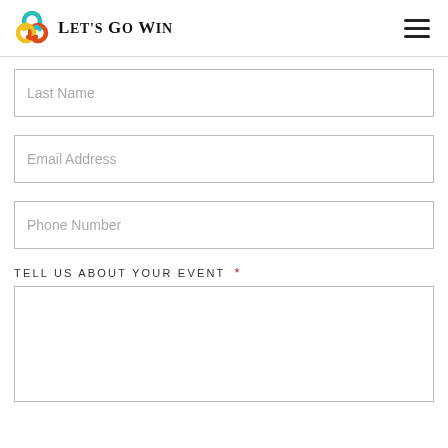Let's Go Win
Last Name
Email Address
Phone Number
TELL US ABOUT YOUR EVENT *